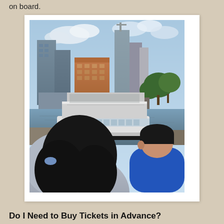on board.
[Figure (photo): Two children (a girl with long dark hair in a grey jacket and a boy in a blue jacket) viewed from behind, looking at a large white cruise/ferry boat docked in a harbor with the New York City skyline in the background including skyscrapers and a building under construction.]
Do I Need to Buy Tickets in Advance?